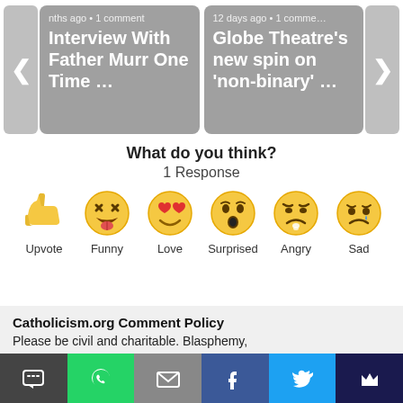[Figure (screenshot): Carousel with two article cards: 'Interview With Father Murr One Time ...' and 'Globe Theatre's new spin on non-binary ...' with navigation arrows]
What do you think?
1 Response
[Figure (infographic): Six reaction emoji buttons: Upvote (thumbs up), Funny (laughing face with tongue), Love (heart eyes face), Surprised (surprised face), Angry (crying/angry face), Sad (sad face with tear)]
Catholicism.org Comment Policy
Please be civil and charitable. Blasphemy,
[Figure (infographic): Share bar with SMS, WhatsApp, Email, Facebook, Twitter, and crown/bookmark buttons]